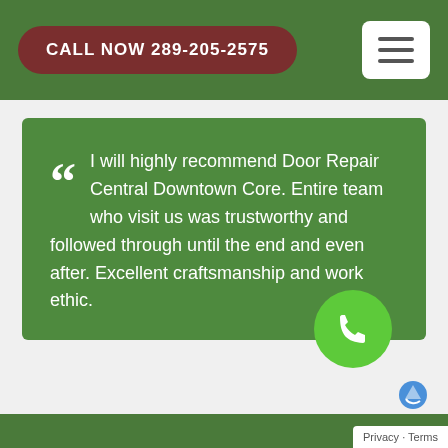CALL NOW 289-205-2575
I will highly recommend Door Repair Central Downtown Core. Entire team who visit us was trustworthy and followed through until the end and even after. Excellent craftsmanship and work ethic.

- Jordan
[Figure (other): Green phone icon circle button for calling]
Privacy · Terms